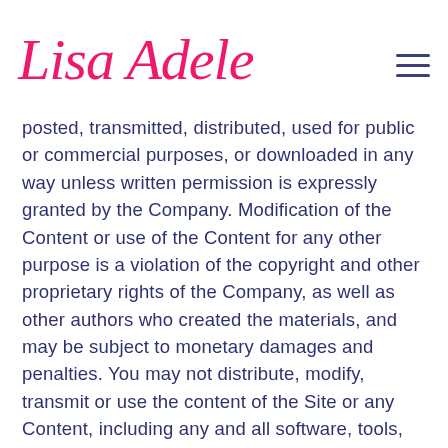Lisa Adele
posted, transmitted, distributed, used for public or commercial purposes, or downloaded in any way unless written permission is expressly granted by the Company. Modification of the Content or use of the Content for any other purpose is a violation of the copyright and other proprietary rights of the Company, as well as other authors who created the materials, and may be subject to monetary damages and penalties. You may not distribute, modify, transmit or use the content of the Site or any Content, including any and all software, tools, graphics and/or sound files, for public or commercial purposes without the express written permission of the Company.